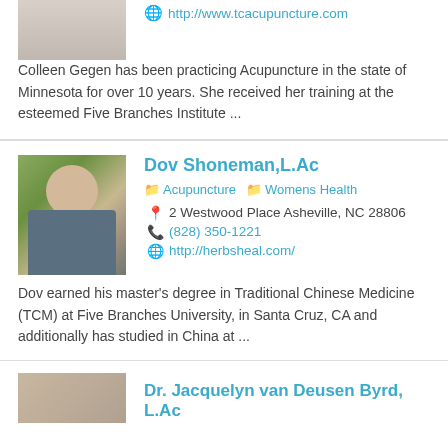[Figure (photo): Partial photo of a person, cropped at top]
http://www.tcacupuncture.com
Colleen Gegen has been practicing Acupuncture in the state of Minnesota for over 10 years. She received her training at the esteemed Five Branches Institute ...
[Figure (photo): Photo of Dov Shoneman, a bald man with green trees in background]
Dov Shoneman,L.Ac
Acupuncture  Womens Health
2 Westwood Place Asheville, NC 28806
(828) 350-1221
http://herbsheal.com/
Dov earned his master's degree in Traditional Chinese Medicine (TCM) at Five Branches University, in Santa Cruz, CA and additionally has studied in China at ...
[Figure (photo): Partial photo of Dr. Jacquelyn van Deusen Byrd]
Dr. Jacquelyn van Deusen Byrd, L.Ac